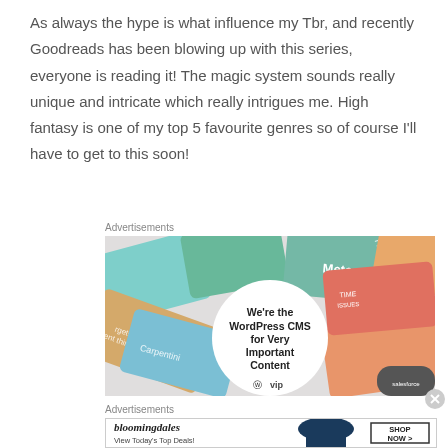As always the hype is what influence my Tbr, and recently Goodreads has been blowing up with this series, everyone is reading it! The magic system sounds really unique and intricate which really intrigues me. High fantasy is one of my top 5 favourite genres so of course I'll have to get to this soon!
Advertisements
[Figure (illustration): WordPress VIP advertisement banner featuring social media brand cards (Meta, Facebook, etc.) and a white circle with bold text 'We're the WordPress CMS for Very Important Content' and WordPress VIP logo]
Advertisements
[Figure (illustration): Bloomingdales advertisement banner showing logo, 'View Today's Top Deals!' text, woman with hat, and 'SHOP NOW >' button]